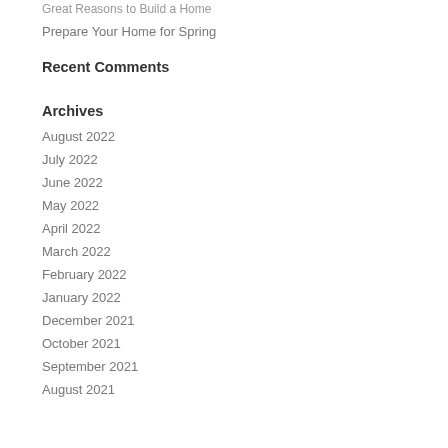Great Reasons to Build a Home
Prepare Your Home for Spring
Recent Comments
Archives
August 2022
July 2022
June 2022
May 2022
April 2022
March 2022
February 2022
January 2022
December 2021
October 2021
September 2021
August 2021